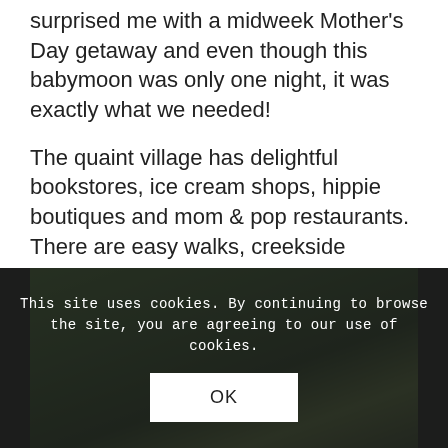surprised me with a midweek Mother's Day getaway and even though this babymoon was only one night, it was exactly what we needed!
The quaint village has delightful bookstores, ice cream shops, hippie boutiques and mom & pop restaurants. There are easy walks, creekside (paved) bike paths and just so much lavendar scented fresh air, mom and baby bump will feel the benefits of all this healthy energy.
[Figure (photo): Outdoor photo showing trees and greenery, partially obscured by a cookie consent banner overlay with dark semi-transparent background.]
This site uses cookies. By continuing to browse the site, you are agreeing to our use of cookies.
OK